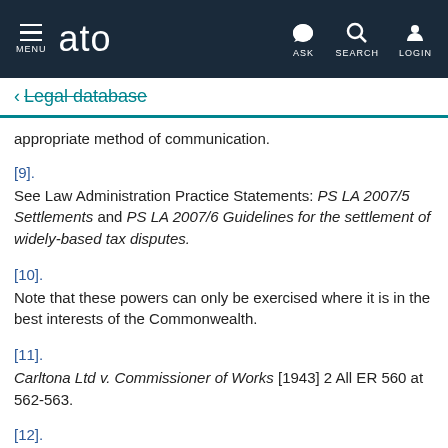ato — MENU | ASK | SEARCH | LOGIN
← Legal database
appropriate method of communication.
[9]. See Law Administration Practice Statements: PS LA 2007/5 Settlements and PS LA 2007/6 Guidelines for the settlement of widely-based tax disputes.
[10]. Note that these powers can only be exercised where it is in the best interests of the Commonwealth.
[11]. Carltona Ltd v. Commissioner of Works [1943] 2 All ER 560 at 562-563.
[12]. See also paragraphs 2.7.2 and 2.72 of Delegations and…